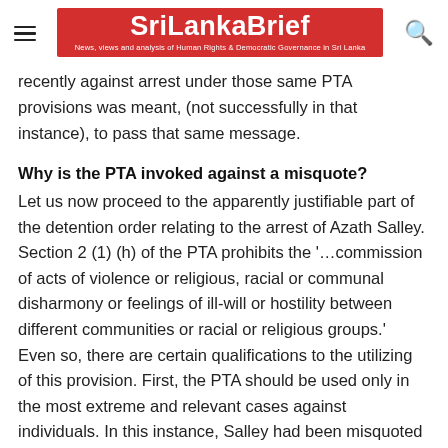SriLankaBrief — News, views and analysis of Human Rights & Democratic Governance in Sri Lanka
recently against arrest under those same PTA provisions was meant, (not successfully in that instance), to pass that same message.
Why is the PTA invoked against a misquote?
Let us now proceed to the apparently justifiable part of the detention order relating to the arrest of Azath Salley. Section 2 (1) (h) of the PTA prohibits the '…commission of acts of violence or religious, racial or communal disharmony or feelings of ill-will or hostility between different communities or racial or religious groups.' Even so, there are certain qualifications to the utilizing of this provision. First, the PTA should be used only in the most extreme and relevant cases against individuals. In this instance, Salley had been misquoted in an Indian newspaper as stating that the Muslim community will resort to arms against injustice done to them. Reportedly he had requested a correction but the newspaper had been slow in publishing